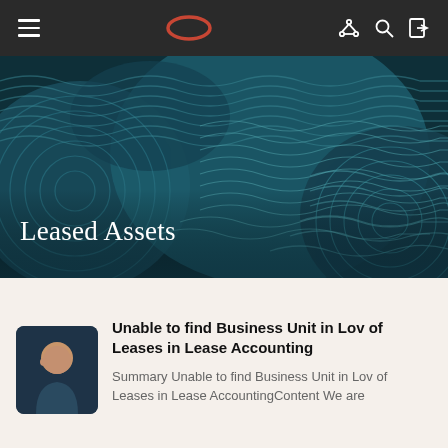Navigation bar with hamburger menu, Oracle logo, and icons
[Figure (illustration): Dark teal hero banner with decorative wavy/circular pattern texture overlays in varying shades of teal and dark blue-green]
Leased Assets
[Figure (illustration): Small square thumbnail showing a person silhouette icon on dark navy background]
Unable to find Business Unit in Lov of Leases in Lease Accounting
Summary Unable to find Business Unit in Lov of Leases in Lease AccountingContent We are